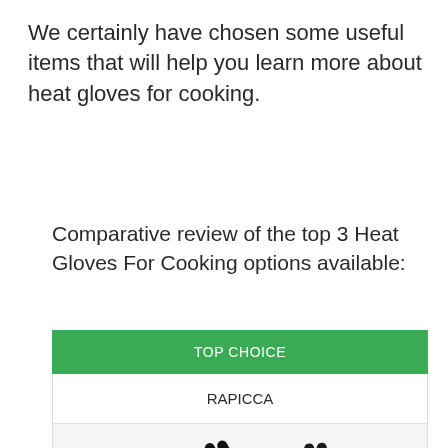We certainly have chosen some useful items that will help you learn more about heat gloves for cooking.
Comparative review of the top 3 Heat Gloves For Cooking options available:
| TOP CHOICE |
| --- |
| RAPICCA |
| [product image] |